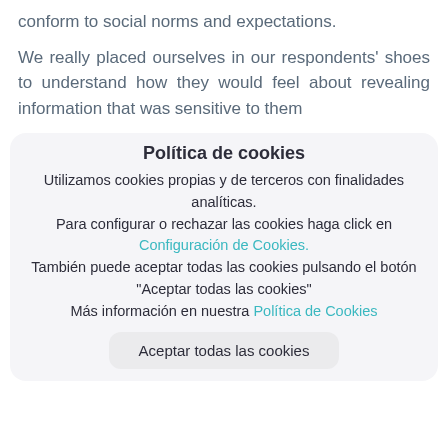conform to social norms and expectations.
We really placed ourselves in our respondents' shoes to understand how they would feel about revealing information that was sensitive to them
Política de cookies
Utilizamos cookies propias y de terceros con finalidades analíticas. Para configurar o rechazar las cookies haga click en Configuración de Cookies. También puede aceptar todas las cookies pulsando el botón "Aceptar todas las cookies" Más información en nuestra Política de Cookies
Aceptar todas las cookies